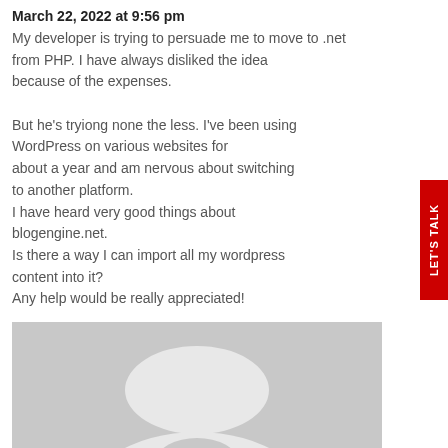March 22, 2022 at 9:56 pm
My developer is trying to persuade me to move to .net from PHP. I have always disliked the idea because of the expenses.

But he's tryiong none the less. I've been using WordPress on various websites for about a year and am nervous about switching to another platform.
I have heard very good things about blogengine.net.
Is there a way I can import all my wordpress content into it?
Any help would be really appreciated!
[Figure (photo): Gray placeholder avatar image showing a generic user silhouette]
wifidb.science says:
March 22, 2022 at 10:01 pm